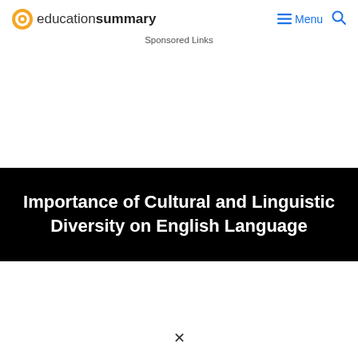educationsummary — Menu (search icon)
Sponsored Links
Importance of Cultural and Linguistic Diversity on English Language